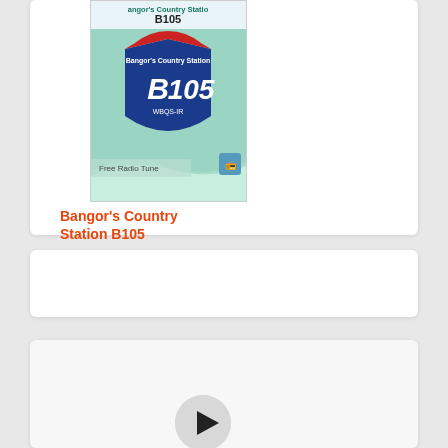[Figure (logo): Bangor's Country Station B105 radio station logo with interstate shield design and WBQS-IR callsign, on Free Radio Tune banner]
Bangor's Country Station B105
[Figure (logo): The Fuse 94.3 FM radio station logo thumbnail]
The Fuse 94.3 FM
[Figure (other): Play button (right-pointing triangle) in circular button]